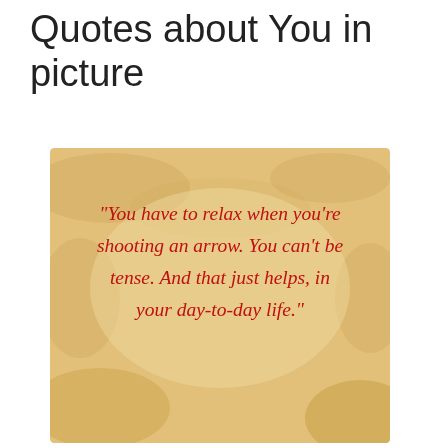Quotes about You in picture
[Figure (illustration): A parchment-textured background image with red serif italic text reading: "You have to relax when you're shooting an arrow. You can't be tense. And that just helps, in your day-to-day life."]